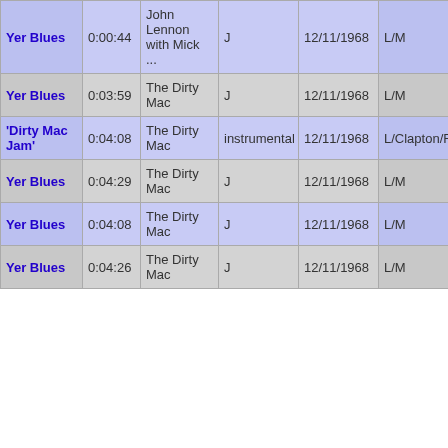| Song | Time | Artist | Vocal | Date | Credits |
| --- | --- | --- | --- | --- | --- |
| Yer Blues | 0:00:44 | John Lennon with Mick ... | J | 12/11/1968 | L/M |
| Yer Blues | 0:03:59 | The Dirty Mac | J | 12/11/1968 | L/M |
| 'Dirty Mac Jam' | 0:04:08 | The Dirty Mac | instrumental | 12/11/1968 | L/Clapton/Richard/Mitch |
| Yer Blues | 0:04:29 | The Dirty Mac | J | 12/11/1968 | L/M |
| Yer Blues | 0:04:08 | The Dirty Mac | J | 12/11/1968 | L/M |
| Yer Blues | 0:04:26 | The Dirty Mac | J | 12/11/1968 | L/M |